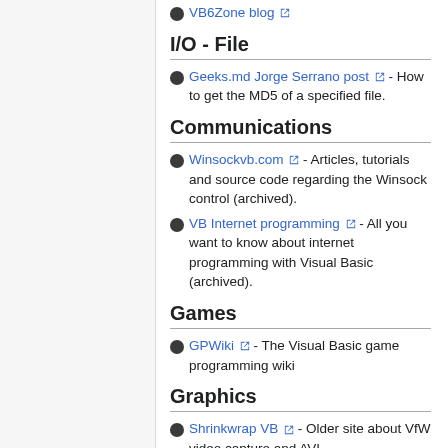VB6Zone blog [external link]
I/O - File
Geeks.md Jorge Serrano post [external link] - How to get the MD5 of a specified file.
Communications
Winsockvb.com [external link] - Articles, tutorials and source code regarding the Winsock control (archived).
VB Internet programming [external link] - All you want to know about internet programming with Visual Basic (archived).
Games
GPWiki [external link] - The Visual Basic game programming wiki
Graphics
Shrinkwrap VB [external link] - Older site about VfW video capture and AVI